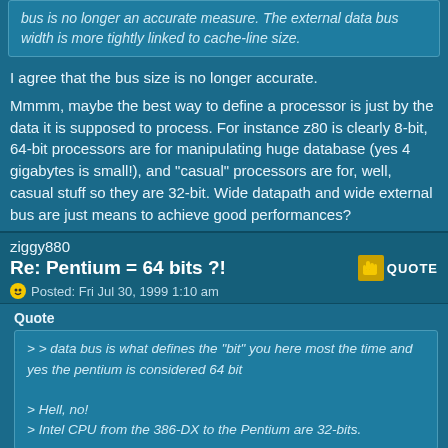bus is no longer an accurate measure. The external data bus width is more tightly linked to cache-line size.
I agree that the bus size is no longer accurate.
Mmmm, maybe the best way to define a processor is just by the data it is supposed to process. For instance z80 is clearly 8-bit, 64-bit processors are for manipulating huge database (yes 4 gigabytes is small!), and "casual" processors are for, well, casual stuff so they are 32-bit. Wide datapath and wide external bus are just means to achieve good performances?
ziggy880
Re: Pentium = 64 bits ?!
Posted: Fri Jul 30, 1999 1:10 am
Quote
> > data bus is what defines the "bit" you here most the time and yes the pentium is considered 64 bit

> Hell, no!
> Intel CPU from the 386-DX to the Pentium are 32-bits.